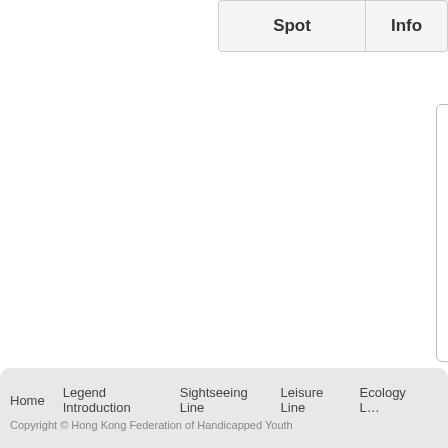| Spot | Info |
| --- | --- |
| Parking Spaces Designated for the Disabled (section header) |  |
| The Jockey Club Creative Arts Centre |  |
| Mei Ho House |  |
| Apliu Street (Electronics Street) |  |
| Fuk Wing Street (Toy Street) |  |
| Dragon Centre |  |
Home  Legend Introduction  Sightseeing Line  Leisure Line  Ecology L...
Copyright © Hong Kong Federation of Handicapped Youth